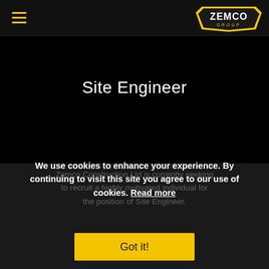ZEMCO GROUP
Site Engineer
Zemco Construction Ltd is currently seeking to recruit a highly motivated individual for the position of Site Engineer.
We use cookies to enhance your experience. By continuing to visit this site you agree to our use of cookies. Read more
Got it!